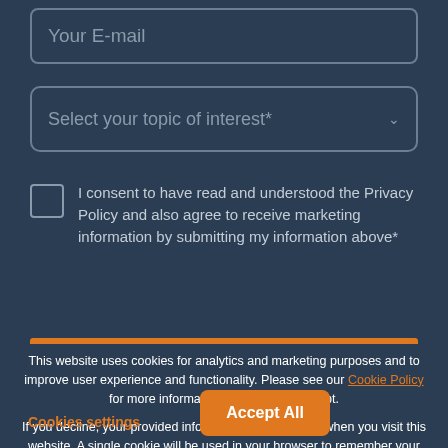Your E-mail
Select your topic of interest*
I consent to have read and understood the Privacy Policy and also agree to receive marketing information by submitting my information above*
This website uses cookies for analytics and marketing purposes and to improve user experience and functionality. Please see our Cookie Policy for more information. Click 'OK' to accept.
If you decline, your provided information can't be used when you visit this website. A single cookie will be used in your browser to remember your preference not to be tracked.
Cookies settings
Accept All